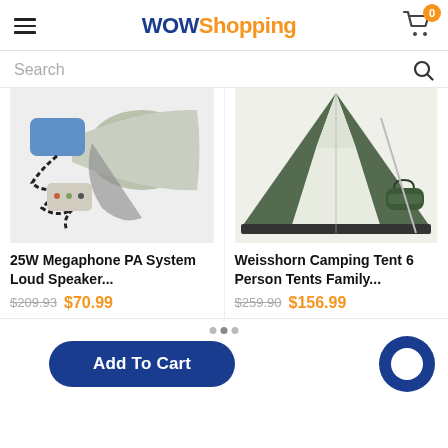WOWShopping
Search
[Figure (photo): Photo of a 25W megaphone PA system loud speaker with handheld microphone and strap]
25W Megaphone PA System Loud Speaker...
$209.93  $70.99
[Figure (photo): Photo of a Weisshorn camping tent, 6 person family tent in green and white, shown with carrying bag]
Weisshorn Camping Tent 6 Person Tents Family...
$259.90  $156.99
Add To Cart